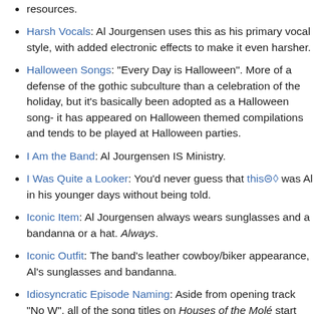resources.
Harsh Vocals: Al Jourgensen uses this as his primary vocal style, with added electronic effects to make it even harsher.
Halloween Songs: "Every Day is Halloween". More of a defense of the gothic subculture than a celebration of the holiday, but it's basically been adopted as a Halloween song- it has appeared on Halloween themed compilations and tends to be played at Halloween parties.
I Am the Band: Al Jourgensen IS Ministry.
I Was Quite a Looker: You'd never guess that this⊚◇ was Al in his younger days without being told.
Iconic Item: Al Jourgensen always wears sunglasses and a bandanna or a hat. Always.
Iconic Outfit: The band's leather cowboy/biker appearance, Al's sunglasses and bandanna.
Idiosyncratic Episode Naming: Aside from opening track "No W", all of the song titles on Houses of the Molé start